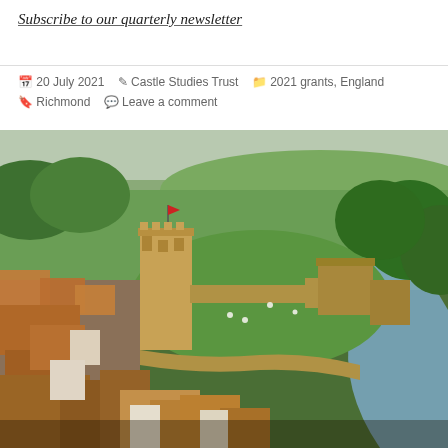Subscribe to our quarterly newsletter
20 July 2021  Castle Studies Trust  2021 grants, England  Richmond  Leave a comment
[Figure (photo): Aerial photograph of Richmond Castle, North Yorkshire, England, showing the stone keep and curtain walls surrounded by the town and green fields, with a river visible at the right edge.]